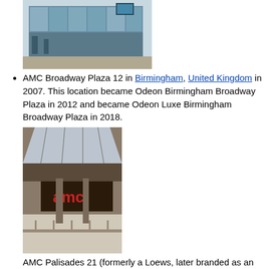[Figure (photo): Exterior photo of AMC Broadway Plaza 12 in Birmingham, UK — modern glass facade building]
AMC Broadway Plaza 12 in Birmingham, United Kingdom in 2007. This location became Odeon Birmingham Broadway Plaza in 2012 and became Odeon Luxe Birmingham Broadway Plaza in 2018.
[Figure (photo): Interior photo of AMC Palisades 21 — shopping mall interior with AMC sign visible, skylight roof]
AMC Palisades 21 (formerly a Loews, later branded as an "AMC Loews" before renovation) at Palisades Center shopping mall in West Nyack, New York
See also